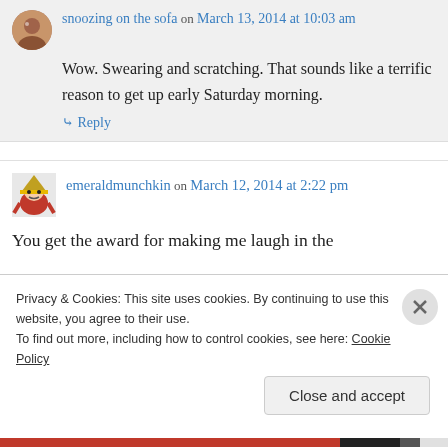snoozing on the sofa on March 13, 2014 at 10:03 am
Wow. Swearing and scratching. That sounds like a terrific reason to get up early Saturday morning.
↳ Reply
emeraldmunchkin on March 12, 2014 at 2:22 pm
You get the award for making me laugh in the
Privacy & Cookies: This site uses cookies. By continuing to use this website, you agree to their use.
To find out more, including how to control cookies, see here: Cookie Policy
Close and accept